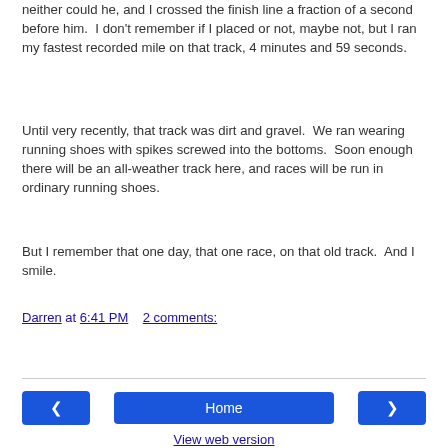neither could he, and I crossed the finish line a fraction of a second before him.  I don't remember if I placed or not, maybe not, but I ran my fastest recorded mile on that track, 4 minutes and 59 seconds.
Until very recently, that track was dirt and gravel.  We ran wearing running shoes with spikes screwed into the bottoms.  Soon enough there will be an all-weather track here, and races will be run in ordinary running shoes.
But I remember that one day, that one race, on that old track.  And I smile.
Darren at 6:41 PM    2 comments:
Share
Home
View web version